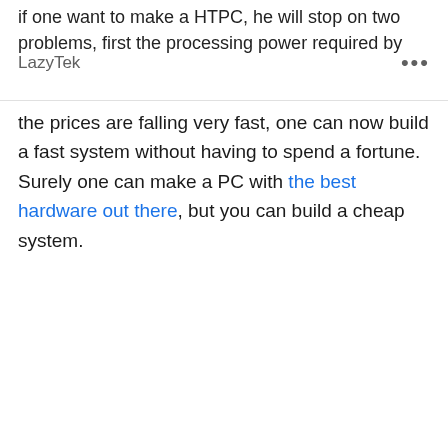if one want to make a HTPC, he will stop on two problems, first the processing power required by
LazyTek
the prices are falling very fast, one can now build a fast system without having to spend a fortune. Surely one can make a PC with the best hardware out there, but you can build a cheap system.